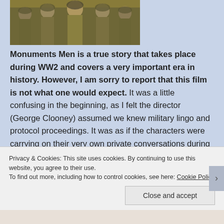[Figure (photo): Group photo of soldiers/military men in olive green uniforms, appearing to be a promotional still from the Monuments Men film]
Monuments Men is a true story that takes place during WW2 and covers a very important era in history.  However, I am sorry to report that this film is not what one would expect.  It was a little confusing in the beginning, as I felt the director (George Clooney) assumed we knew military lingo and protocol proceedings.  It was as if the characters were carrying on their very own private conversations during an ambiguous opening.  The plan was to
Privacy & Cookies: This site uses cookies. By continuing to use this website, you agree to their use.
To find out more, including how to control cookies, see here: Cookie Policy
Close and accept